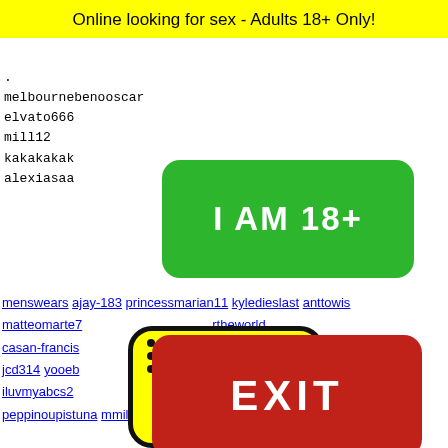Online looking for sex - Adults 18+ Only!
melbournebenooscar
elvato666
mill12
kakakakak
alexiasaa
[Figure (other): Green button reading 'I AM 18+']
menswears ajay-183 princessmarian11 kyledieslast anttowis matteomarte7 ... rtheworld casan-francis ... sexy jcd314 yooeb ... iluvmyabcs2 ... peppinoupistuna mmilicaamm Caringbabylives 13166
[Figure (other): Red EXIT button]
2040 2041 2042 2043 2044
2040 2041 2042 2043 2044
luiscuevas AKL Keit... andreaa... stevenjonesuk andreapirino mileycyrus123911 tinkerbell0224 nadialentini - phantrasl ... bus222 tiffy-cha... 055 iidaddy J... Mustaf11...
[Figure (illustration): Yellow emoji face with dot grid pattern and bow tie at bottom]